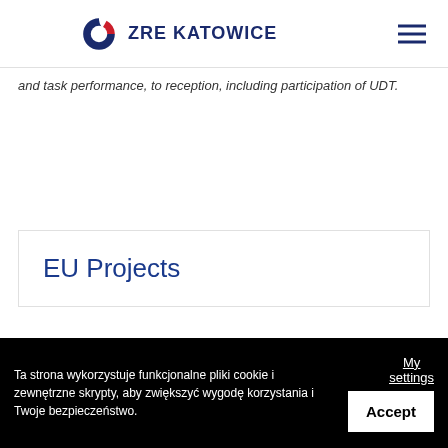ZRE KATOWICE
and task performance, to reception, including participation of UDT.
EU Projects
Ta strona wykorzystuje funkcjonalne pliki cookie i zewnętrzne skrypty, aby zwiększyć wygodę korzystania i Twoje bezpieczeństwo.
My settings
Accept